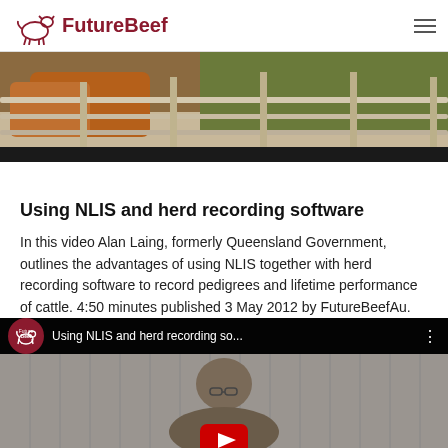FutureBeef
[Figure (photo): Cattle yard fence rails with orange/brown cattle and green foliage visible in background]
Using NLIS and herd recording software
In this video Alan Laing, formerly Queensland Government, outlines the advantages of using NLIS together with herd recording software to record pedigrees and lifetime performance of cattle. 4:50 minutes published 3 May 2012 by FutureBeefAu.
[Figure (screenshot): YouTube video thumbnail showing 'Using NLIS and herd recording so...' with FutureBeef logo circle and a man in glasses in front of corrugated metal wall, with red YouTube play button overlay]